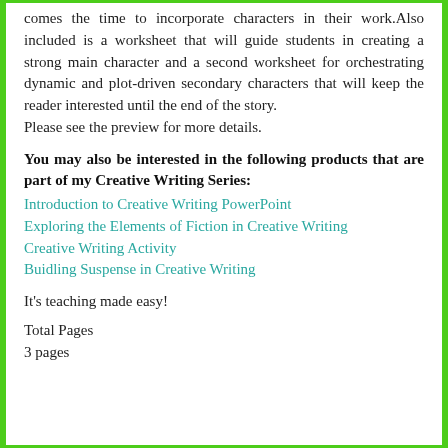comes the time to incorporate characters in their work.Also included is a worksheet that will guide students in creating a strong main character and a second worksheet for orchestrating dynamic and plot-driven secondary characters that will keep the reader interested until the end of the story.
Please see the preview for more details.
You may also be interested in the following products that are part of my Creative Writing Series:
Introduction to Creative Writing PowerPoint
Exploring the Elements of Fiction in Creative Writing
Creative Writing Activity
Buidling Suspense in Creative Writing
It's teaching made easy!
Total Pages
3 pages